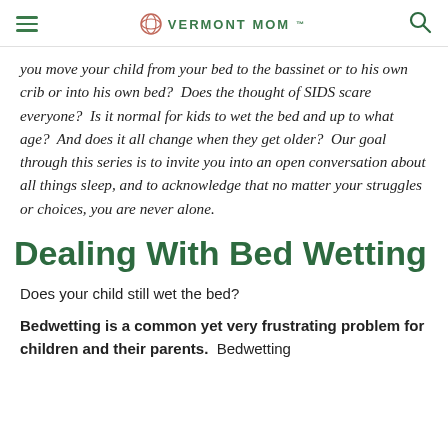VERMONT MOM
you move your child from your bed to the bassinet or to his own crib or into his own bed?  Does the thought of SIDS scare everyone?  Is it normal for kids to wet the bed and up to what age?  And does it all change when they get older?  Our goal through this series is to invite you into an open conversation about all things sleep, and to acknowledge that no matter your struggles or choices, you are never alone.
Dealing With Bed Wetting
Does your child still wet the bed?
Bedwetting is a common yet very frustrating problem for children and their parents.  Bedwetting